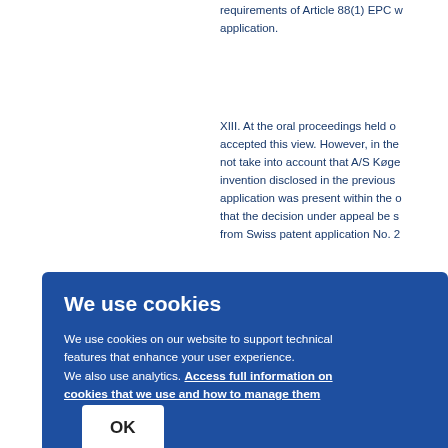requirements of Article 88(1) EPC application.
XIII. At the oral proceedings held o accepted this view. However, in the not take into account that A/S Køge invention disclosed in the previous application was present within the that the decision under appeal be s from Swiss patent application No. 2 ained
We use cookies
We use cookies on our website to support technical features that enhance your user experience. We also use analytics. Access full information on cookies that we use and how to manage them
OK
isider ts pro rity w